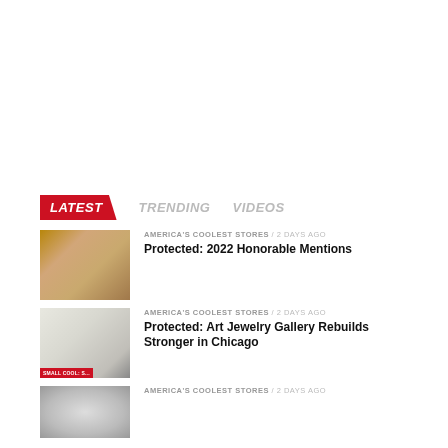LATEST   TRENDING   VIDEOS
[Figure (photo): Thumbnail of a jewelry store interior with display cases]
AMERICA'S COOLEST STORES / 2 days ago
Protected: 2022 Honorable Mentions
[Figure (photo): Thumbnail of a minimalist white art jewelry gallery interior]
AMERICA'S COOLEST STORES / 2 days ago
Protected: Art Jewelry Gallery Rebuilds Stronger in Chicago
[Figure (photo): Thumbnail of a decorative item, partially visible]
AMERICA'S COOLEST STORES / 2 days ago